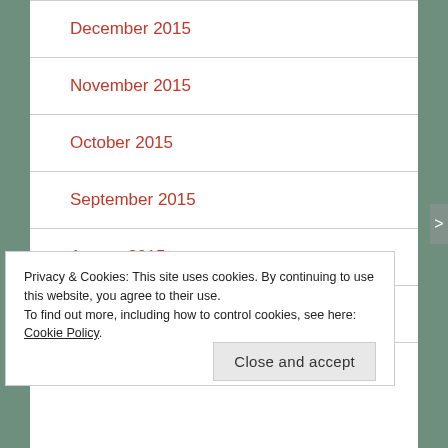December 2015
November 2015
October 2015
September 2015
August 2015
July 2015
June 2015
Privacy & Cookies: This site uses cookies. By continuing to use this website, you agree to their use. To find out more, including how to control cookies, see here: Cookie Policy
Close and accept